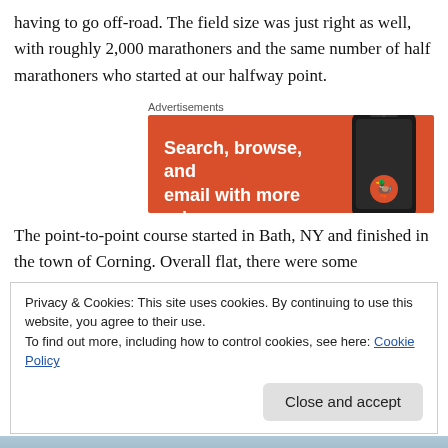having to go off-road. The field size was just right as well, with roughly 2,000 marathoners and the same number of half marathoners who started at our halfway point.
Advertisements
[Figure (screenshot): Orange advertisement banner for a privacy-focused browser/search engine showing text 'Search, browse, and email with more privacy.' with a phone image on the right.]
The point-to-point course started in Bath, NY and finished in the town of Corning. Overall flat, there were some
Privacy & Cookies: This site uses cookies. By continuing to use this website, you agree to their use.
To find out more, including how to control cookies, see here: Cookie Policy
[Figure (photo): Partial outdoor landscape photo at the bottom of the page.]